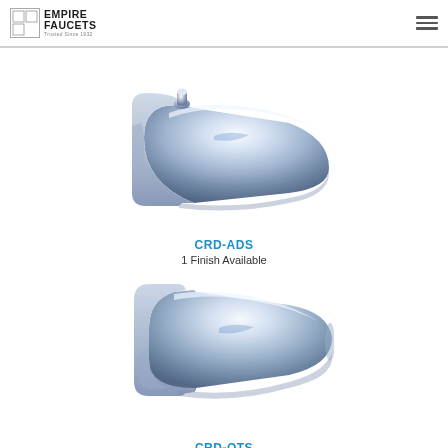Empire Faucets
[Figure (photo): Chrome bathtub spout with diverter pull-up knob on top, model CRD-ADS]
CRD-ADS
1 Finish Available
[Figure (photo): Chrome bathtub spout without diverter, model CRD-OTS]
CRD-OTS